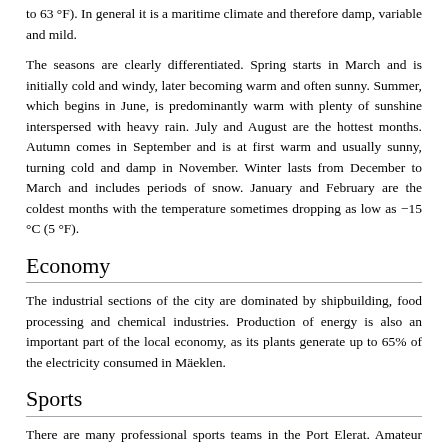to 63 °F). In general it is a maritime climate and therefore damp, variable and mild.
The seasons are clearly differentiated. Spring starts in March and is initially cold and windy, later becoming warm and often sunny. Summer, which begins in June, is predominantly warm with plenty of sunshine interspersed with heavy rain. July and August are the hottest months. Autumn comes in September and is at first warm and usually sunny, turning cold and damp in November. Winter lasts from December to March and includes periods of snow. January and February are the coldest months with the temperature sometimes dropping as low as −15 °C (5 °F).
Economy
The industrial sections of the city are dominated by shipbuilding, food processing and chemical industries. Production of energy is also an important part of the local economy, as its plants generate up to 65% of the electricity consumed in Mäeklen.
Sports
There are many professional sports teams in the Port Elerat. Amateur sports are played by thousands of citizens and also in schools of all levels (elementary, secondary, university). This earned Port Isherwood the title of "Capital city of Sport". The most popular sports in Elerat are football, ice